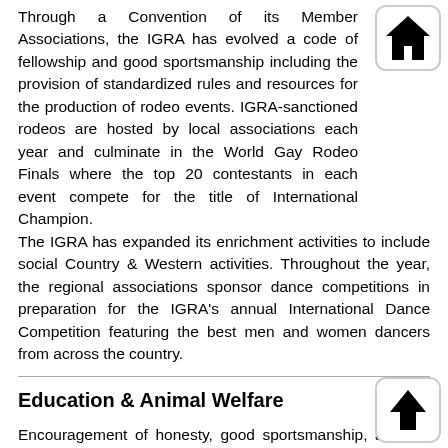Through a Convention of its Member Associations, the IGRA has evolved a code of fellowship and good sportsmanship including the provision of standardized rules and resources for the production of rodeo events. IGRA-sanctioned rodeos are hosted by local associations each year and culminate in the World Gay Rodeo Finals where the top 20 contestants in each event compete for the title of International Champion. The IGRA has expanded its enrichment activities to include social Country & Western activities. Throughout the year, the regional associations sponsor dance competitions in preparation for the IGRA's annual International Dance Competition featuring the best men and women dancers from across the country.
Education & Animal Welfare
Encouragement of honesty, good sportsmanship, and fair play has been the hallmark of the IGRA as it has sought to enrich and educate the Gay and Lesbian Community. The sometimes rough and rugged sport of Rodeo offers an appeal to the thousands of members of IGRA's regional associations. Through structured regional education programs and competition, our men and women have improved their skills and have learned good sportsmanship